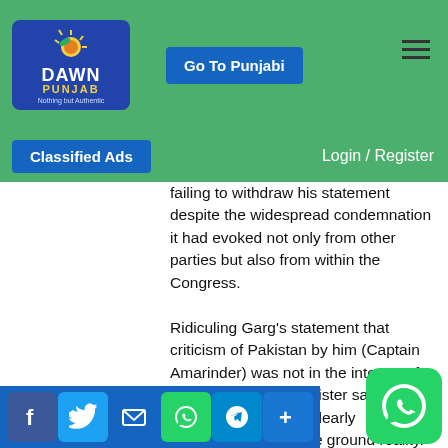Dawn Punjab — Nothing but Authentic
Go To Punjabi
Classified Ads
Login / Register
failing to withdraw his statement despite the widespread condemnation it had evoked not only from other parties but also from within the Congress.

Ridiculing Garg's statement that criticism of Pakistan by him (Captain Amarinder) was not in the interest of Punjab, the Chief Minister said Sidhu's advisor was clearly disconnected from the ground reality. "The fact, which every Punjabi and in fact every Indian knows, is that Pakistan's threat to us is real. Every day they are pushing weapons and drugs into Punjab via drones in a brazen attempt to destabilise our nation. Punjabi soldiers are dying at the borders at the hands of